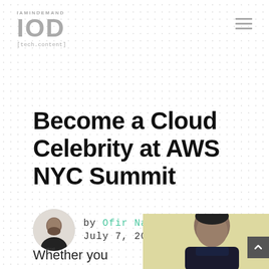IAMINDEMAND IOD [tech.content]
Become a Cloud Celebrity at AWS NYC Summit
by Ofir Nachmani July 7, 2014
[Figure (photo): Circular author avatar photo of Ofir Nachmani]
Whether you
[Figure (photo): Photo of a person wearing a dark shirt, cropped at bottom of page, yellow background]